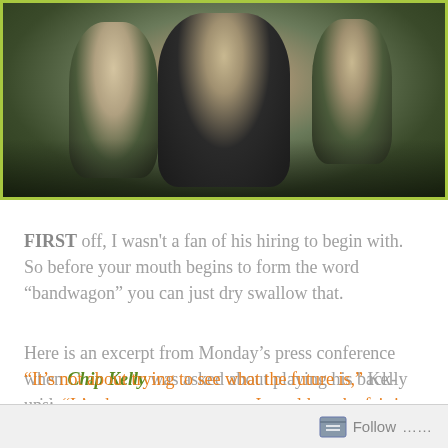[Figure (photo): Sports photo showing a football coach in dark jacket with arms crossed, flanked by players in white Oregon Ducks uniforms, with a yellow-green border]
FIRST off, I wasn't a fan of his hiring to begin with. So before your mouth begins to form the word “bandwagon” you can just dry swallow that.
Here is an excerpt from Monday’s press conference when Chip Kelly was asked about playing his back-ups:
“It’s not about trying to see what the future is,” Kelly said. “It’s about we got a game. I would not be fair in any of my beliefs and I would not be fair to any football player right now if I said to some guy, ‘Hey, I know you’re a better
Follow